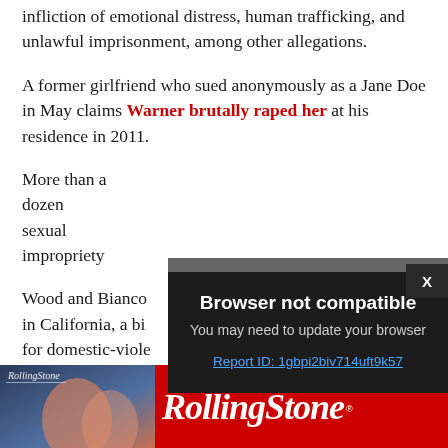infliction of emotional distress, human trafficking, and unlawful imprisonment, among other allegations.
A former girlfriend who sued anonymously as a Jane Doe in May claims Warner brutally raped her at his residence in 2011.
More than a dozen [text obscured by modal] sexual impropriety [text obscured by modal]
Wood and Bianco [text obscured by modal] in California, a bi[text obscured by modal] for domestic-viole[text obscured by modal] against their abuse[text obscured by modal]
[Figure (screenshot): Browser not compatible modal dialog overlay on dark background. Title: 'Browser not compatible'. Subtitle: 'You may need to update your browser'. Link: 'Report ID: 1gbpi2biv714uft9k57'. Close button 'X' in top right corner.]
[Figure (logo): Rolling Stone magazine advertisement banner. Red background with Rolling Stone logo in white italic serif font. Left side shows a magazine cover image.]